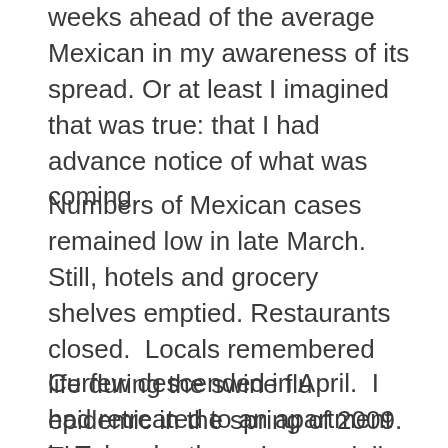weeks ahead of the average Mexican in my awareness of its spread. Or at least I imagined that was true: that I had advance notice of what was coming.
Numbers of Mexican cases remained low in late March.  Still, hotels and grocery shelves emptied.  Restaurants closed.  Locals remembered life during the swine flu epidemic in the spring of 2009.  There were rumors, especially on expatriate message boards, of creeping privation and attendant violence.
Curfew descended in April.  I had retreated to an apartment in Tulum by then.  Law enforcement presence--